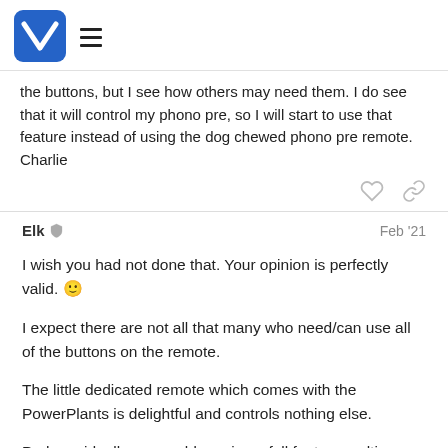Logo and navigation menu
the buttons, but I see how others may need them. I do see that it will control my phono pre, so I will start to use that feature instead of using the dog chewed phono pre remote.
Charlie
Elk   Feb '21
I wish you had not done that. Your opinion is perfectly valid. 🙂

I expect there are not all that many who need/can use all of the buttons on the remote.

The little dedicated remote which comes with the PowerPlants is delightful and controls nothing else.

Perhaps ideally we would receive a full feature multi-remote,